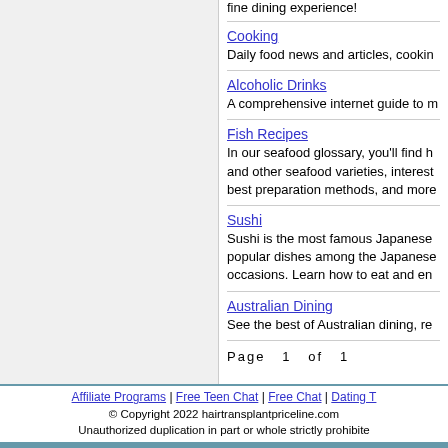fine dining experience!
Cooking
Daily food news and articles, cookin
Alcoholic Drinks
A comprehensive internet guide to m
Fish Recipes
In our seafood glossary, you'll find h and other seafood varieties, interest best preparation methods, and more
Sushi
Sushi is the most famous Japanese popular dishes among the Japanese occasions. Learn how to eat and en
Australian Dining
See the best of Australian dining, re
Page  1  of  1
Affiliate Programs | Free Teen Chat | Free Chat | Dating T
© Copyright 2022 hairtransplantpriceline.com
Unauthorized duplication in part or whole strictly prohibite